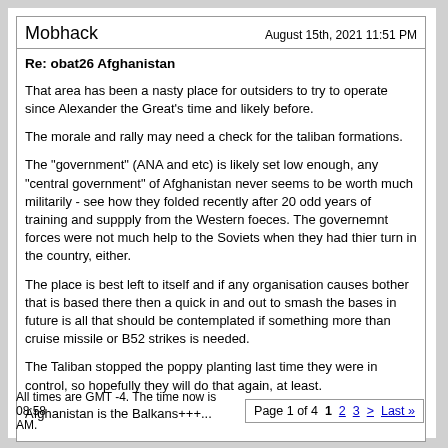Mobhack   August 15th, 2021 11:51 PM
Re: obat26 Afghanistan
That area has been a nasty place for outsiders to try to operate since Alexander the Great's time and likely before.
The morale and rally may need a check for the taliban formations.
The "government" (ANA and etc) is likely set low enough, any "central government" of Afghanistan never seems to be worth much militarily - see how they folded recently after 20 odd years of training and suppply from the Western foeces. The governemnt forces were not much help to the Soviets when they had thier turn in the country, either.
The place is best left to itself and if any organisation causes bother that is based there then a quick in and out to smash the bases in future is all that should be contemplated if something more than cruise missile or B52 strikes is needed.
The Taliban stopped the poppy planting last time they were in control, so hopefully they will do that again, at least.
Afghanistan is the Balkans+++...
All times are GMT -4. The time now is 08:58 AM.   Page 1 of 4  1  2  3  >  Last »